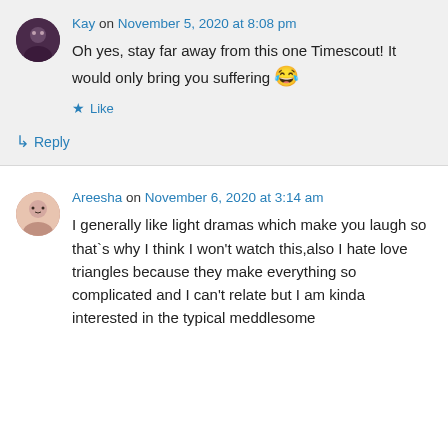Kay on November 5, 2020 at 8:08 pm
Oh yes, stay far away from this one Timescout! It would only bring you suffering 😂
Like
Reply
Areesha on November 6, 2020 at 3:14 am
I generally like light dramas which make you laugh so that`s why I think I won't watch this,also I hate love triangles because they make everything so complicated and I can't relate but I am kinda interested in the typical meddlesome